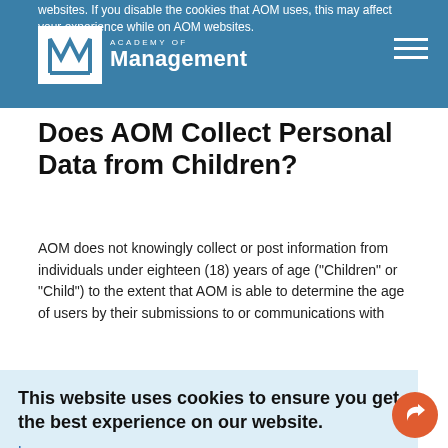websites. If you disable the cookies that AOM uses, this may affect your experience while on AOM websites. Academy of Management
Does AOM Collect Personal Data from Children?
AOM does not knowingly collect or post information from individuals under eighteen (18) years of age ("Children" or "Child") to the extent that AOM is able to determine the age of users by their submissions to or communications with
This website uses cookies to ensure you get the best experience on our website.
Learn more
Got it!
only process data on AOM's behalf and will be held to the